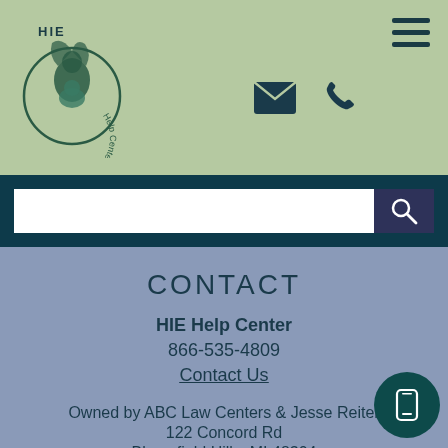[Figure (logo): HIE Help Center logo with mother and child silhouette and circular text]
[Figure (infographic): Email icon, phone icon, and hamburger menu icon in header]
[Figure (infographic): Search bar with magnifying glass button on dark teal background]
CONTACT
HIE Help Center
866-535-4809
Contact Us
Owned by ABC Law Centers & Jesse Reiter
122 Concord Rd
Bloomfield Hills, MI 48304